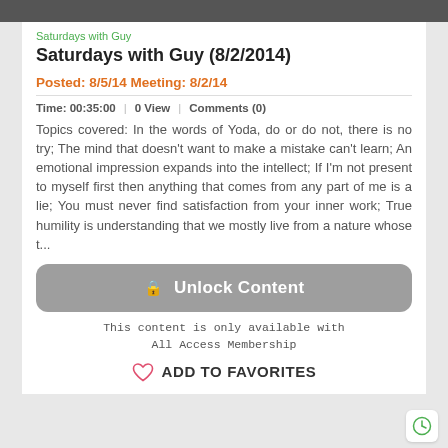[Figure (photo): Dark top banner image strip]
Saturdays with Guy
Saturdays with Guy (8/2/2014)
Posted: 8/5/14 Meeting: 8/2/14
Time: 00:35:00 | 0 View | Comments (0)
Topics covered: In the words of Yoda, do or do not, there is no try; The mind that doesn't want to make a mistake can't learn; An emotional impression expands into the intellect; If I'm not present to myself first then anything that comes from any part of me is a lie; You must never find satisfaction from your inner work; True humility is understanding that we mostly live from a nature whose t...
🔒 Unlock Content
This content is only available with
All Access Membership
ADD TO FAVORITES